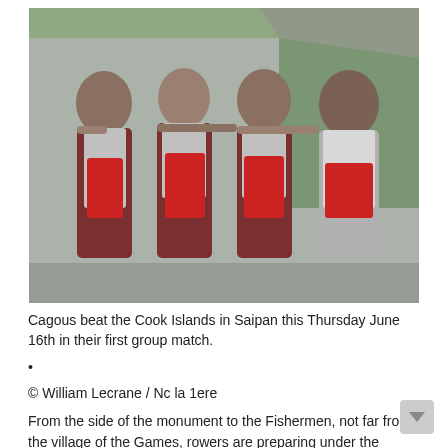[Figure (photo): Four young male athletes in matching grey and red jerseys with a team crest, standing together with arms around each other in front of a chain-link fence and green foliage in the background.]
Cagous beat the Cook Islands in Saipan this Thursday June 16th in their first group match.
•
© William Lecrane / Nc la 1ere
From the side of the monument to the Fishermen, not far from the village of the Games, rowers are preparing under the scorching sun. The water is smooth and the athletes